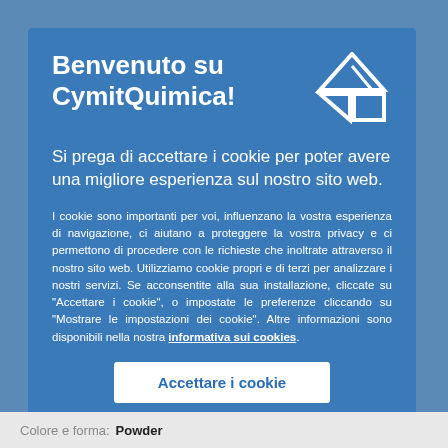Benvenuto su CymitQuimica!
Si prega di accettare i cookie per poter avere una migliore esperienza sul nostro sito web.
I cookie sono importanti per voi, influenzano la vostra esperienza di navigazione, ci aiutano a proteggere la vostra privacy e ci permettono di procedere con le richieste che inoltrate attraverso il nostro sito web. Utilizziamo cookie propri e di terzi per analizzare i nostri servizi. Se acconsentite alla sua installazione, cliccate su "Accettare i cookie", o impostate le preferenze cliccando su "Mostrare le impostazioni dei cookie". Altre informazioni sono disponibili nella nostra informativa sui cookies.
Accettare i cookie
Colore e forma: Powder